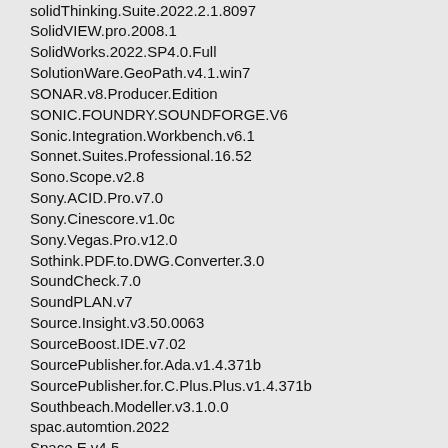solidThinking.Suite.2022.2.1.8097
SolidVIEW.pro.2008.1
SolidWorks.2022.SP4.0.Full
SolutionWare.GeoPath.v4.1.win7
SONAR.v8.Producer.Edition
SONIC.FOUNDRY.SOUNDFORGE.V6
Sonic.Integration.Workbench.v6.1
Sonnet.Suites.Professional.16.52
Sono.Scope.v2.8
Sony.ACID.Pro.v7.0
Sony.Cinescore.v1.0c
Sony.Vegas.Pro.v12.0
Sothink.PDF.to.DWG.Converter.3.0
SoundCheck.7.0
SoundPLAN.v7
Source.Insight.v3.50.0063
SourceBoost.IDE.v7.02
SourcePublisher.for.Ada.v1.4.371b
SourcePublisher.for.C.Plus.Plus.v1.4.371b
Southbeach.Modeller.v3.1.0.0
spac.automtion.2022
Space.E.v4.5
Space.Management.for.CADVance.2005
SpaceCAD.v3.1.0.320
SpaceClaim.v2022